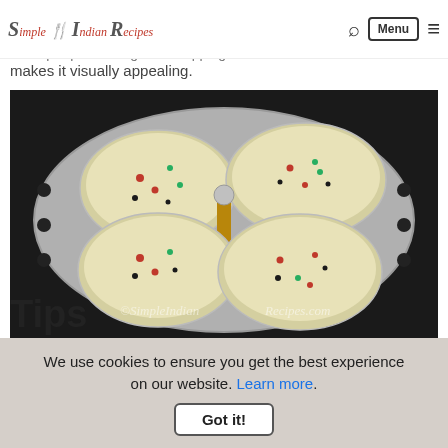Simple Indian Recipes [logo] [search icon] [Menu button] [hamburger]
6. Finally pour the batter and steam it for about 15 - 20 minutes. When you demould the idlies, they have pre placed vegetable topping on each idli which makes it visually appealing.
[Figure (photo): Photo of four round idlis in an idli steamer plate, showing vegetable toppings (red chilies, green herbs, black mustard seeds). Watermark reads '©SimpleIndianRecipes.com'.]
Tips
We use cookies to ensure you get the best experience on our website. Learn more. [Got it! button]